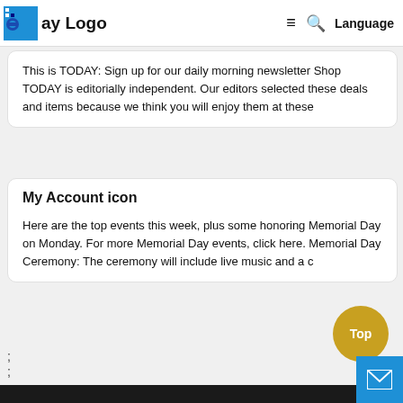ay Logo  ≡  🔍  Language
This is TODAY: Sign up for our daily morning newsletter Shop TODAY is editorially independent. Our editors selected these deals and items because we think you will enjoy them at these
My Account icon
Here are the top events this week, plus some honoring Memorial Day on Monday. For more Memorial Day events, click here. Memorial Day Ceremony: The ceremony will include live music and a c
;
;